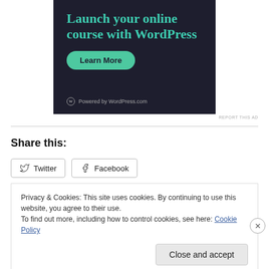[Figure (illustration): Dark-themed advertisement banner for WordPress online course. Teal text reads 'Launch your online course with WordPress' with a teal 'Learn More' button and 'Powered by WordPress.com' at the bottom.]
REPORT THIS AD
Share this:
Twitter
Facebook
Privacy & Cookies: This site uses cookies. By continuing to use this website, you agree to their use.
To find out more, including how to control cookies, see here: Cookie Policy
Close and accept